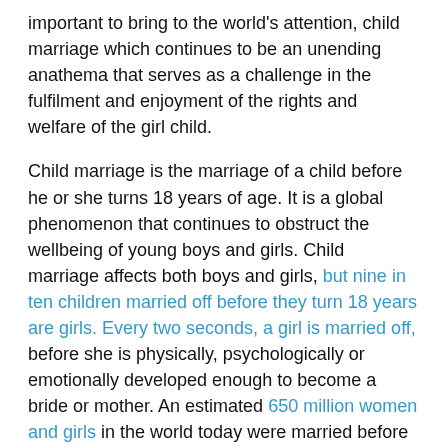important to bring to the world's attention, child marriage which continues to be an unending anathema that serves as a challenge in the fulfilment and enjoyment of the rights and welfare of the girl child.
Child marriage is the marriage of a child before he or she turns 18 years of age. It is a global phenomenon that continues to obstruct the wellbeing of young boys and girls. Child marriage affects both boys and girls, but nine in ten children married off before they turn 18 years are girls. Every two seconds, a girl is married off, before she is physically, psychologically or emotionally developed enough to become a bride or mother. An estimated 650 million women and girls in the world today were married before they turned 18 years and one-third of these women and girls were married off before they turned 15 years. According to United Nations International Children